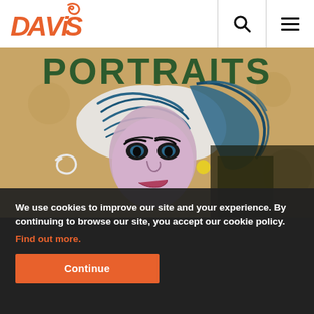[Figure (logo): Davis Publications red stylized logo with swirl above the word DAVIS]
[Figure (illustration): Student artwork portrait painting - face with blue/teal hair or head covering, pink/purple face, dark eyes, on tan/gold background, with the word PORTRAITS in green letters at top of image]
We use cookies to improve our site and your experience. By continuing to browse our site, you accept our cookie policy.
Find out more.
Continue